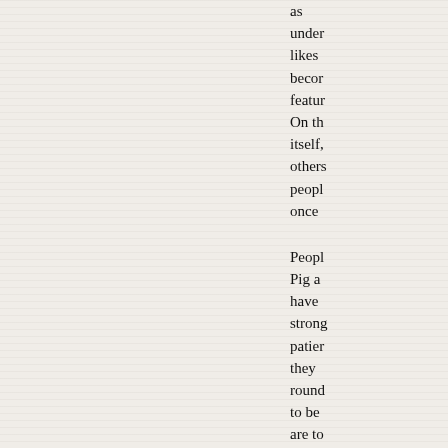as understood likes become features. On the itself, others people once
People Pig and have strong patient they round to be are to until can t fideli
Best s snake